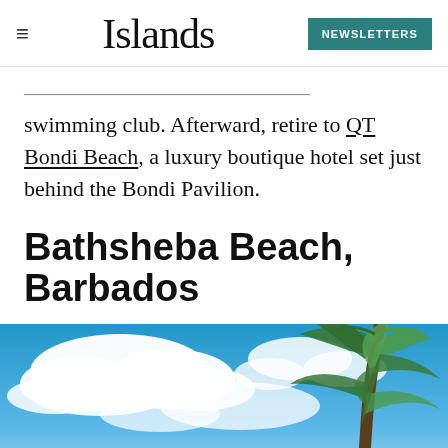Islands — NEWSLETTERS
swimming club. Afterward, retire to QT Bondi Beach, a luxury boutique hotel set just behind the Bondi Pavilion.
Bathsheba Beach, Barbados
[Figure (photo): Blue sky with white clouds and palm tree fronds, tropical beach scene]